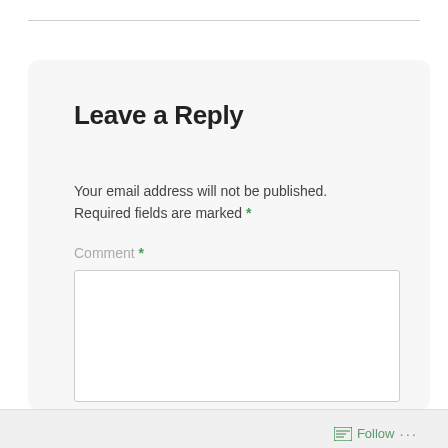Leave a Reply
Your email address will not be published. Required fields are marked *
Comment *
[Figure (screenshot): Empty comment textarea input box with white background and light border]
Follow ...